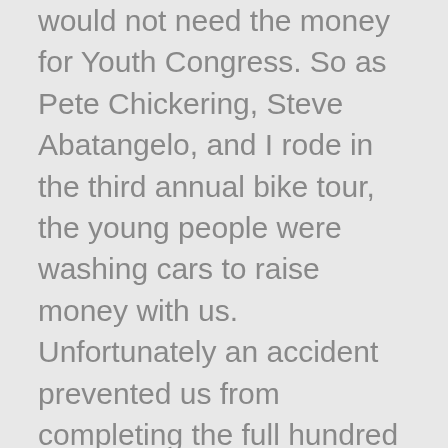would not need the money for Youth Congress. So as Pete Chickering, Steve Abatangelo, and I rode in the third annual bike tour, the young people were washing cars to raise money with us. Unfortunately an accident prevented us from completing the full hundred mile ride, but it was decided sixty miles with a second degree shoulder separation was still respectable. As the ride ended I was nearly convinced that writing a check three years earlier would have been much less painful and may still have been cheaper.
The young people did three carwashes total for Sheaves for Christ and raised around $400 between them. The youth treasurer Megan would inform me every